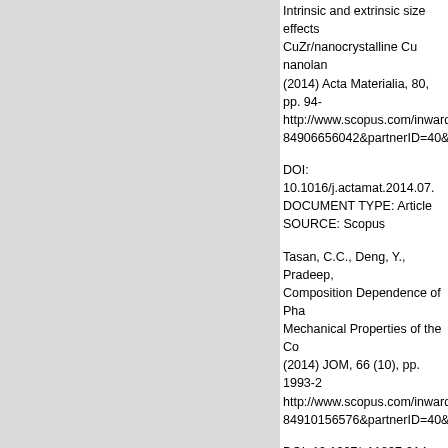Intrinsic and extrinsic size effects in strength and ductility of CuZr/nanocrystalline Cu nanolaminates (2014) Acta Materialia, 80, pp. 94- http://www.scopus.com/inward/re 84906656042&partnerID=40&mo
DOI: 10.1016/j.actamat.2014.07. DOCUMENT TYPE: Article SOURCE: Scopus
Tasan, C.C., Deng, Y., Pradeep, Composition Dependence of Pha Mechanical Properties of the Co (2014) JOM, 66 (10), pp. 1993-2 http://www.scopus.com/inward/re 84910156576&partnerID=40&mo
DOI: 10.1007/s11837-014-1133- DOCUMENT TYPE: Article SOURCE: Scopus
Hafez Haghighat, S.M., Von Pez Neugebauer, J., Raabe, D. Influence of the dislocation core in bcc-iron: An embedded atom m (2014) Computational Materials S http://www.scopus.com/inward/re 84896346177&partnerID=40&mo
DOI: 10.1016/j.commatsci.2014. DOCUMENT TYPE: Article SOURCE: Scopus